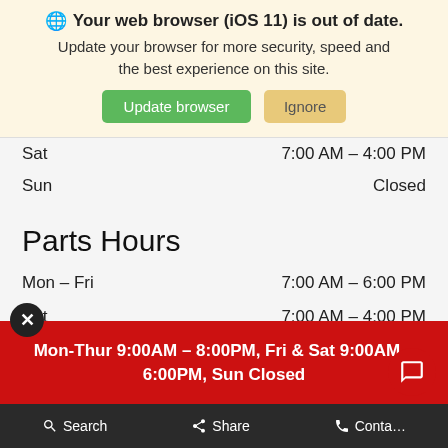Your web browser (iOS 11) is out of date. Update your browser for more security, speed and the best experience on this site. [Update browser] [Ignore]
| Day | Hours |
| --- | --- |
| Sat | 7:00 AM – 4:00 PM |
| Sun | Closed |
Parts Hours
| Day | Hours |
| --- | --- |
| Mon – Fri | 7:00 AM – 6:00 PM |
| Sat | 7:00 AM – 4:00 PM |
| Sun | Closed |
Mon-Thur 9:00AM – 8:00PM, Fri & Sat 9:00AM – 6:00PM, Sun Closed
Search   Share   Contact